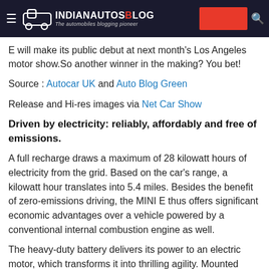IndianAutosBlog — The automobiles blogging pioneer
E will make its public debut at next month's Los Angeles motor show.So another winner in the making? You bet!
Source : Autocar UK and Auto Blog Green
Release and Hi-res images via Net Car Show
Driven by electricity: reliably, affordably and free of emissions.
A full recharge draws a maximum of 28 kilowatt hours of electricity from the grid. Based on the car's range, a kilowatt hour translates into 5.4 miles. Besides the benefit of zero-emissions driving, the MINI E thus offers significant economic advantages over a vehicle powered by a conventional internal combustion engine as well.
The heavy-duty battery delivers its power to an electric motor, which transforms it into thrilling agility. Mounted transversely under the MINI E's bonnet, the drive train